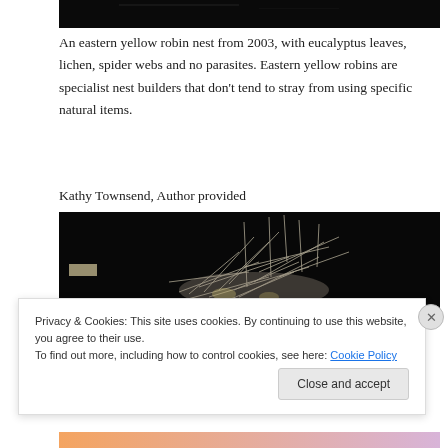[Figure (photo): Top portion of an eastern yellow robin nest photo (dark background), cropped at the top of the page]
An eastern yellow robin nest from 2003, with eucalyptus leaves, lichen, spider webs and no parasites. Eastern yellow robins are specialist nest builders that don't tend to stray from using specific natural items.
Kathy Townsend, Author provided
[Figure (photo): A bird nest made of twigs and dry grass on a dark background, partially visible]
Privacy & Cookies: This site uses cookies. By continuing to use this website, you agree to their use.
To find out more, including how to control cookies, see here: Cookie Policy
Close and accept